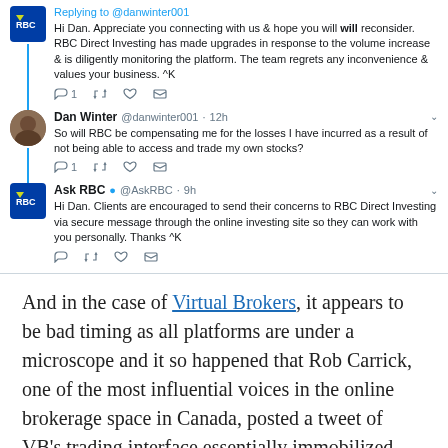[Figure (screenshot): Twitter/social media screenshot showing a conversation between RBC (Ask RBC) and Dan Winter (@danwinter001). First tweet: RBC replying to @danwinter001 — 'Hi Dan. Appreciate you connecting with us & hope you will reconsider. RBC Direct Investing has made upgrades in response to the volume increase & is diligently monitoring the platform. The team regrets any inconvenience & values your business. ^K'. Second tweet by Dan Winter @danwinter001 · 12h: 'So will RBC be compensating me for the losses I have incurred as a result of not being able to access and trade my own stocks?'. Third tweet by Ask RBC @AskRBC · 9h: 'Hi Dan. Clients are encouraged to send their concerns to RBC Direct Investing via secure message through the online investing site so they can work with you personally. Thanks ^K'.]
And in the case of Virtual Brokers, it appears to be bad timing as all platforms are under a microscope and it so happened that Rob Carrick, one of the most influential voices in the online brokerage space in Canada, posted a tweet of VB's trading interface essentially immobilized.